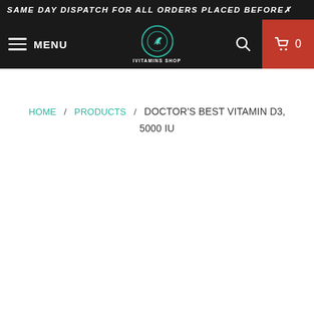SAME DAY DISPATCH FOR ALL ORDERS PLACED BEFORE
[Figure (logo): IVitamins Shop logo with navigation bar showing hamburger menu, MENU text, circular logo icon with bird/leaf design, search icon, and red cart button with 0 count]
HOME / PRODUCTS / DOCTOR'S BEST VITAMIN D3, 5000 IU